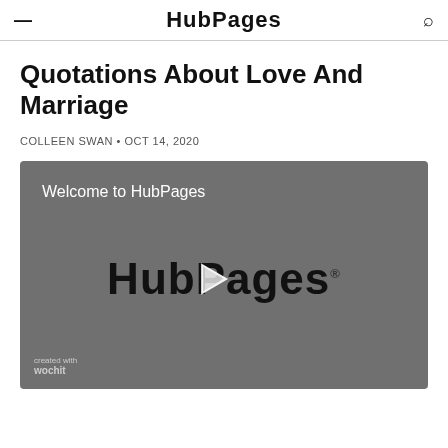HubPages
Quotations About Love And Marriage
COLLEEN SWAN • OCT 14, 2020
[Figure (other): Video player showing HubPages welcome video with HubPages logo and play button, branded with Wochit at bottom left. Text reads 'Welcome to HubPages'.]